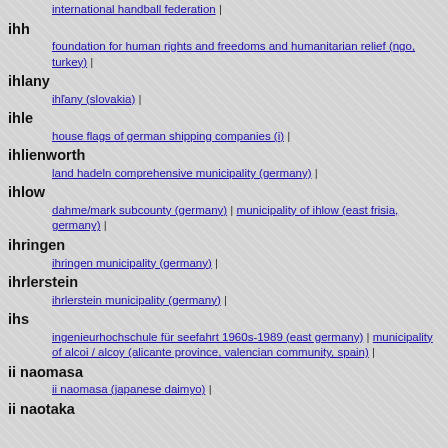international handball federation |
ihh
foundation for human rights and freedoms and humanitarian relief (ngo, turkey) |
ihlany
ihľany (slovakia) |
ihle
house flags of german shipping companies (i) |
ihlienworth
land hadeln comprehensive municipality (germany) |
ihlow
dahme/mark subcounty (germany) | municipality of ihlow (east frisia, germany) |
ihringen
ihringen municipality (germany) |
ihrlerstein
ihrlerstein municipality (germany) |
ihs
ingenieurhochschule für seefahrt 1960s-1989 (east germany) | municipality of alcoi / alcoy (alicante province, valencian community, spain) |
ii naomasa
ii naomasa (japanese daimyo) |
ii naotaka